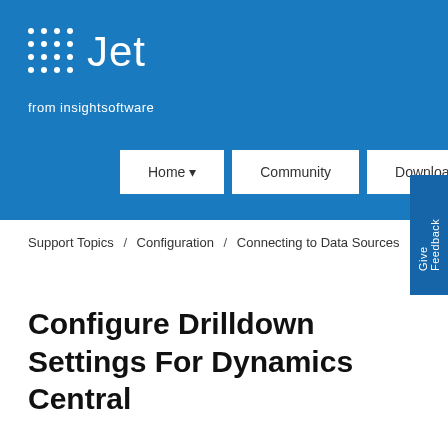[Figure (logo): Jet from insightsoftware logo — white dot grid and 'Jet' text with 'from insightsoftware' tagline on blue background]
Home ▾   Community   Downloads
Support Topics / Configuration / Connecting to Data Sources
Configure Drilldown Settings For Dynamics Central